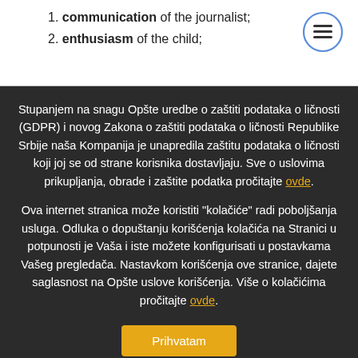1. communication of the journalist;
2. enthusiasm of the child;
Stupanjem na snagu Opšte uredbe o zaštiti podataka o ličnosti (GDPR) i novog Zakona o zaštiti podataka o ličnosti Republike Srbije naša Kompanija je unapredila zaštitu podataka o ličnosti koji joj se od strane korisnika dostavljaju. Sve o uslovima prikupljanja, obrade i zaštite podatka pročitajte ovde.
Ova internet stranica može koristiti "kolačiće" radi poboljšanja usluga. Odluka o dopuštanju korišćenja kolačića na Stranici u potpunosti je Vaša i iste možete konfigurisati u postavkama Vašeg pregledača. Nastavkom korišćenja ove stranice, dajete saglasnost na Opšte uslove korišćenja. Više o kolačićima pročitajte ovde.
Prihvatam